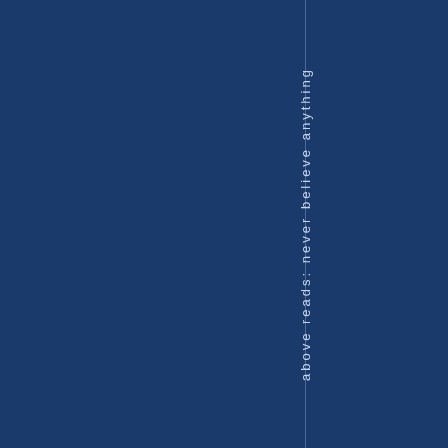[Figure (other): Dark navy blue background with a vertical line and rotated text reading 'above reads: never believe anything' oriented vertically from bottom to top]